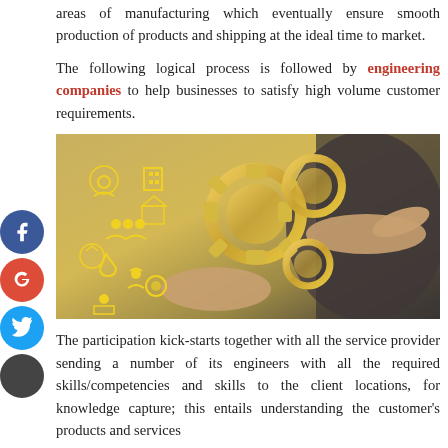areas of manufacturing which eventually ensure smooth production of products and shipping at the ideal time to market.
The following logical process is followed by engineering companies to help businesses to satisfy high volume customer requirements.
[Figure (photo): A person holding up hands with golden mechanical gears floating above them, surrounded by yellow icons representing engineering concepts such as people, buildings, and tools on a gradient background.]
The participation kick-starts together with all the service provider sending a number of its engineers with all the required skills/competencies and skills to the client locations, for knowledge capture; this entails understanding the customer's products and services